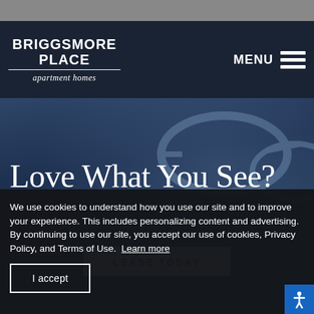[Figure (screenshot): Briggsmore Place apartment homes website screenshot showing navigation bar with logo and MENU hamburger icon, hero section with 'Love What You See?' heading and 'LEASE TODAY' button, overlaid with a cookie consent banner.]
BRIGGSMORE PLACE apartment homes
Love What You See?
LEASE TODAY
We use cookies to understand how you use our site and to improve your experience. This includes personalizing content and advertising.
By continuing to use our site, you accept our use of cookies, Privacy Policy, and Terms of Use. Learn more
I accept